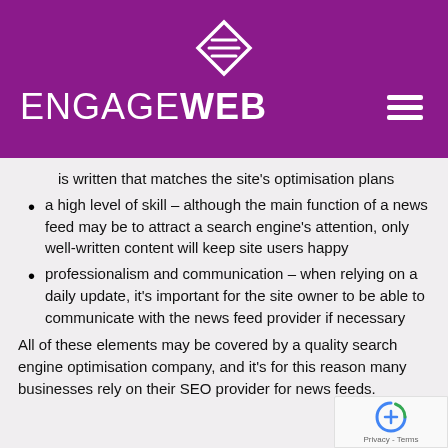[Figure (logo): EngageWeb logo with white diamond/book icon and purple background, hamburger menu icon on right]
is written that matches the site's optimisation plans
a high level of skill – although the main function of a news feed may be to attract a search engine's attention, only well-written content will keep site users happy
professionalism and communication – when relying on a daily update, it's important for the site owner to be able to communicate with the news feed provider if necessary
All of these elements may be covered by a quality search engine optimisation company, and it's for this reason many businesses rely on their SEO provider for news feeds.